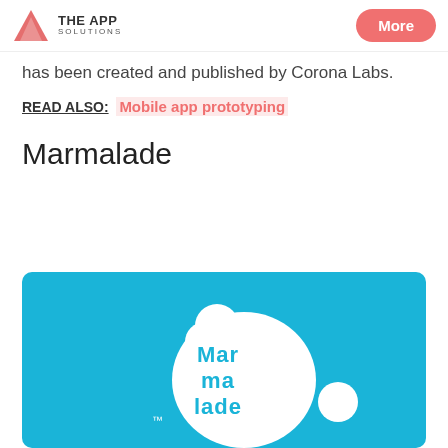THE APP SOLUTIONS | More
has been created and published by Corona Labs.
READ ALSO: Mobile app prototyping
Marmalade
[Figure (logo): Marmalade logo on a cyan/blue background. A white blob shape with 'Mar ma lade' text in blue inside it, with a small white circle to the right and TM mark to the left.]